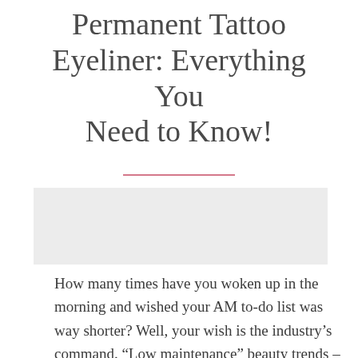Permanent Tattoo Eyeliner: Everything You Need to Know!
[Figure (photo): Image placeholder area for a photo related to permanent tattoo eyeliner]
How many times have you woken up in the morning and wished your AM to-do list was way shorter? Well, your wish is the industry’s command. “Low maintenance” beauty trends – like tattoo eyeliner! Says Shapira